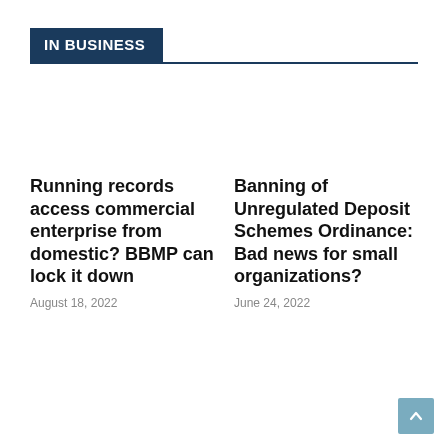IN BUSINESS
Running records access commercial enterprise from domestic? BBMP can lock it down
August 18, 2022
Banning of Unregulated Deposit Schemes Ordinance: Bad news for small organizations?
June 24, 2022